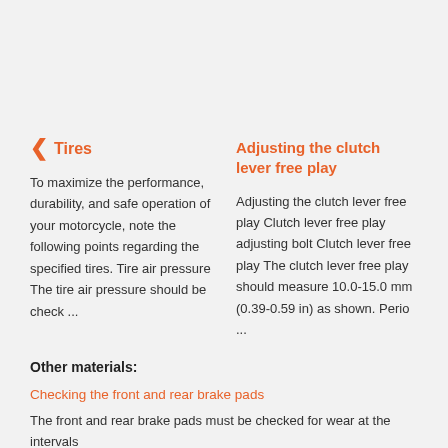Tires
To maximize the performance, durability, and safe operation of your motorcycle, note the following points regarding the specified tires. Tire air pressure The tire air pressure should be check ...
Adjusting the clutch lever free play
Adjusting the clutch lever free play Clutch lever free play adjusting bolt Clutch lever free play The clutch lever free play should measure 10.0-15.0 mm (0.39-0.59 in) as shown. Perio ...
Other materials:
Checking the front and rear brake pads
The front and rear brake pads must be checked for wear at the intervals